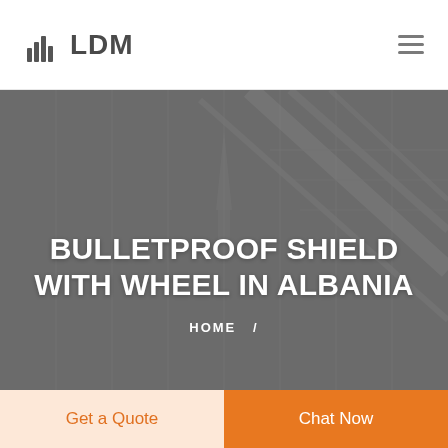LDM
[Figure (screenshot): Hero banner with dark grey architectural background showing stairs and structural beams. Title text: BULLETPROOF SHIELD WITH WHEEL IN ALBANIA. Breadcrumb: HOME /]
BULLETPROOF SHIELD WITH WHEEL IN ALBANIA
HOME /
Get a Quote
Chat Now